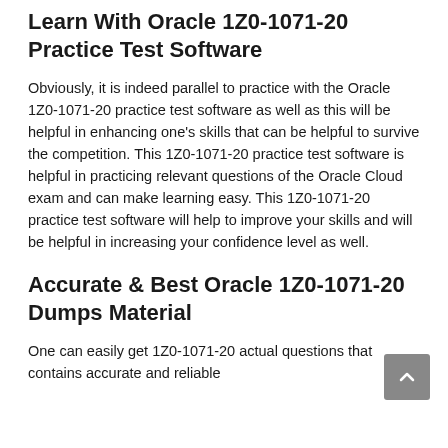Learn With Oracle 1Z0-1071-20 Practice Test Software
Obviously, it is indeed parallel to practice with the Oracle 1Z0-1071-20 practice test software as well as this will be helpful in enhancing one’s skills that can be helpful to survive the competition. This 1Z0-1071-20 practice test software is helpful in practicing relevant questions of the Oracle Cloud exam and can make learning easy. This 1Z0-1071-20 practice test software will help to improve your skills and will be helpful in increasing your confidence level as well.
Accurate & Best Oracle 1Z0-1071-20 Dumps Material
One can easily get 1Z0-1071-20 actual questions that contains accurate and reliable